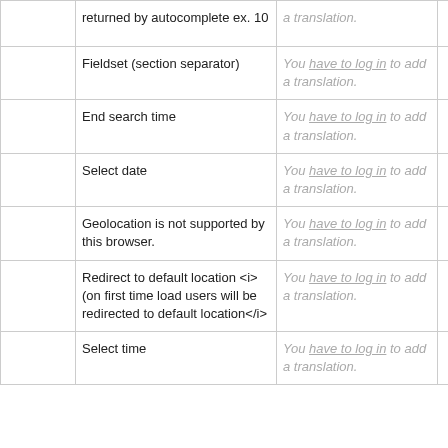|  | Term | Translation | Action |
| --- | --- | --- | --- |
|  | returned by autocomplete
ex. 10 | You have to log in to add a translation. | Details |
|  | Fieldset (section separator) | You have to log in to add a translation. | Details |
|  | End search time | You have to log in to add a translation. | Details |
|  | Select date | You have to log in to add a translation. | Details |
|  | Geolocation is not supported by this browser. | You have to log in to add a translation. | Details |
|  | Redirect to default location <i>(on first time load users will be redirected to default location</i> | You have to log in to add a translation. | Details |
|  | Select time | You have to log in to add a translation. | Details |